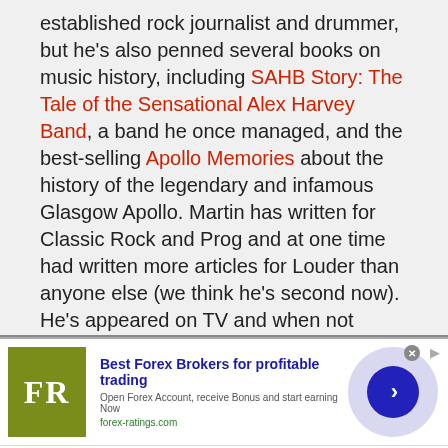established rock journalist and drummer, but he's also penned several books on music history, including SAHB Story: The Tale of the Sensational Alex Harvey Band, a band he once managed, and the best-selling Apollo Memories about the history of the legendary and infamous Glasgow Apollo. Martin has written for Classic Rock and Prog and at one time had written more articles for Louder than anyone else (we think he's second now). He's appeared on TV and when not delving intro all things music, can be found travelling along the UK's vast canal network.
[Figure (infographic): Advertisement banner for forex-ratings.com featuring FR logo in olive/yellow-green square, bold blue headline 'Best Forex Brokers for profitable trading', subtext 'Open Forex Account, receive Bonus and start earning Now', URL 'forex-ratings.com', and a dark blue arrow button on a light purple circle background.]